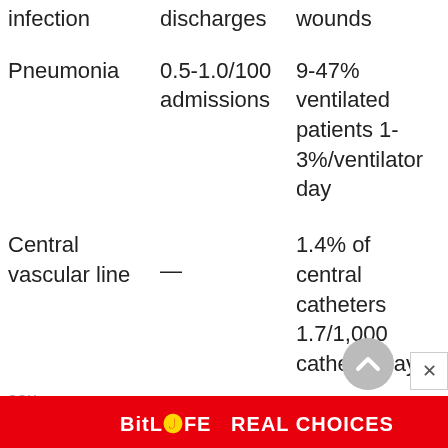| Type | Rate | Incidence |
| --- | --- | --- |
| infection | discharges | wounds |
| Pneumonia | 0.5-1.0/100 admissions | 9-47% ventilated patients 1-3%/ventilator day |
| Central vascular line | — | 1.4% of central catheters 1.7/1,000 catheter days |
| sou... |  |  |